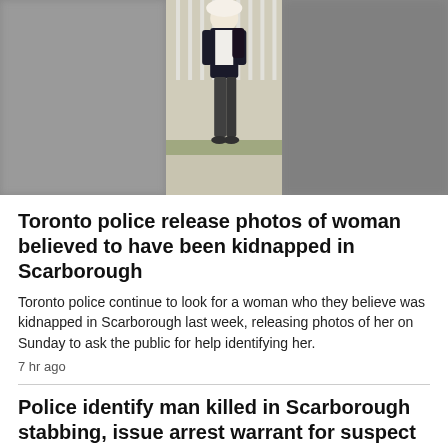[Figure (photo): A blurred photograph of a woman walking outdoors near a fence. The center portion shows the woman clearly wearing a white t-shirt, dark jacket, and dark pants. The left and right sides of the image are blurred.]
Toronto police release photos of woman believed to have been kidnapped in Scarborough
Toronto police continue to look for a woman who they believe was kidnapped in Scarborough last week, releasing photos of her on Sunday to ask the public for help identifying her.
7 hr ago
Police identify man killed in Scarborough stabbing, issue arrest warrant for suspect
9 hr ago